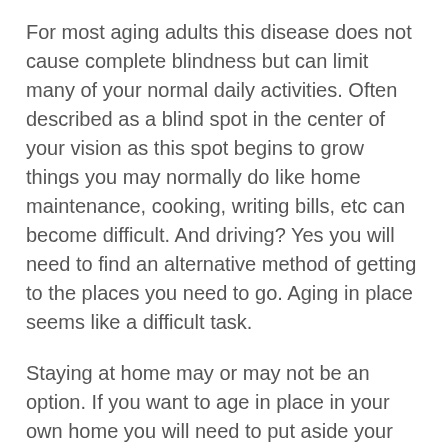For most aging adults this disease does not cause complete blindness but can limit many of your normal daily activities. Often described as a blind spot in the center of your vision as this spot begins to grow things you may normally do like home maintenance, cooking, writing bills, etc can become difficult. And driving? Yes you will need to find an alternative method of getting to the places you need to go. Aging in place seems like a difficult task.
Staying at home may or may not be an option. If you want to age in place in your own home you will need to put aside your pride and ask for help. If you are like most people your adult children are busy with their own lives. They are working and may be busy caring for a family of their own. You hate to impose and though they may tell you it is no imposition you know that it is.
Hiring a home care company for a few hours a day a few times a week may be just the solution you need to keep you